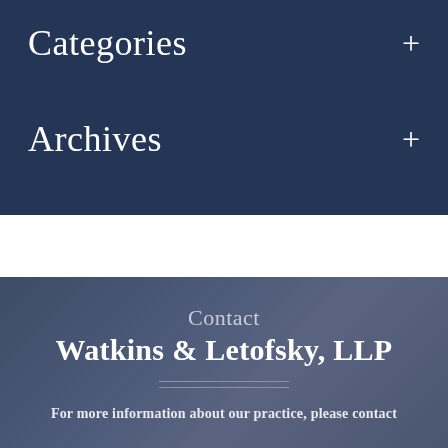Categories +
Archives +
Contact Watkins & Letofsky, LLP
For more information about our practice, please contact